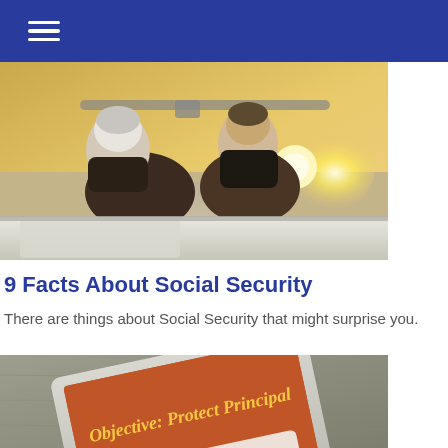Navigation menu (hamburger icon)
[Figure (photo): Elderly couple seen from behind riding in a convertible car on an open road at sunset, warm golden light coming from the front]
9 Facts About Social Security
There are things about Social Security that might surprise you.
[Figure (photo): A tablet device displayed at an angle on a wooden surface showing a dark orange/red screen with italic text reading 'Objective: Protect Principal']